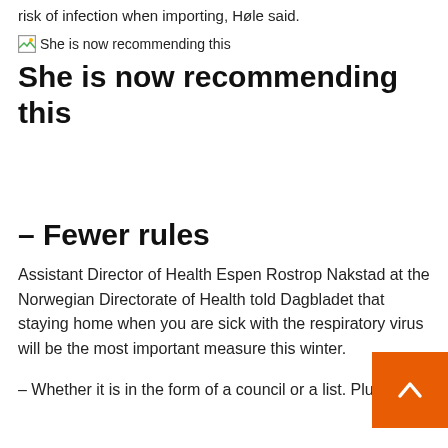risk of infection when importing, Høle said.
[Figure (other): Broken image placeholder with alt text 'She is now recommending this']
She is now recommending this
– Fewer rules
Assistant Director of Health Espen Rostrop Nakstad at the Norwegian Directorate of Health told Dagbladet that staying home when you are sick with the respiratory virus will be the most important measure this winter.
– Whether it is in the form of a council or a list. Plus,